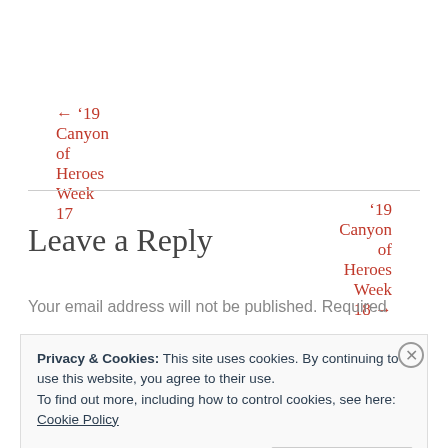← '19 Canyon of Heroes Week 17
'19 Canyon of Heroes Week 18 →
Leave a Reply
Your email address will not be published. Required
Privacy & Cookies: This site uses cookies. By continuing to use this website, you agree to their use.
To find out more, including how to control cookies, see here: Cookie Policy
Close and accept